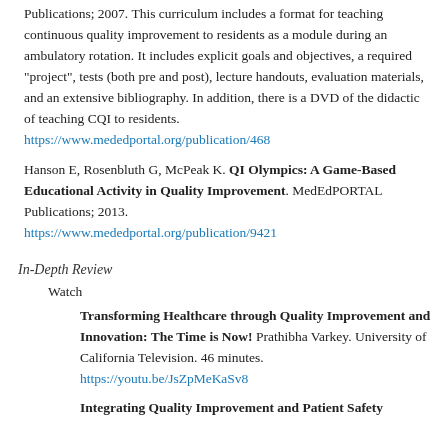Publications; 2007. This curriculum includes a format for teaching continuous quality improvement to residents as a module during an ambulatory rotation. It includes explicit goals and objectives, a required "project", tests (both pre and post), lecture handouts, evaluation materials, and an extensive bibliography. In addition, there is a DVD of the didactic of teaching CQI to residents.
https://www.mededportal.org/publication/468
Hanson E, Rosenbluth G, McPeak K. QI Olympics: A Game-Based Educational Activity in Quality Improvement. MedEdPORTAL Publications; 2013.
https://www.mededportal.org/publication/9421
In-Depth Review
Watch
Transforming Healthcare through Quality Improvement and Innovation: The Time is Now! Prathibha Varkey. University of California Television. 46 minutes.
https://youtu.be/JsZpMeKaSv8
Integrating Quality Improvement and Patient Safety